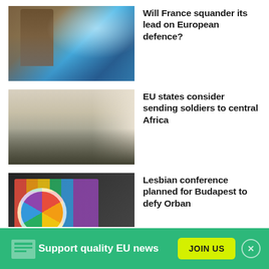[Figure (photo): Stone gargoyle statue on Notre Dame cathedral overlooking Paris rooftops with blue sky]
Will France squander its lead on European defence?
[Figure (photo): Military soldiers in green uniforms inside a room, one saluting, viewed from behind]
EU states consider sending soldiers to central Africa
[Figure (photo): Rainbow pride flags with circular symbol against dark background]
Lesbian conference planned for Budapest to defy Orban
Support quality EU news
JOIN US